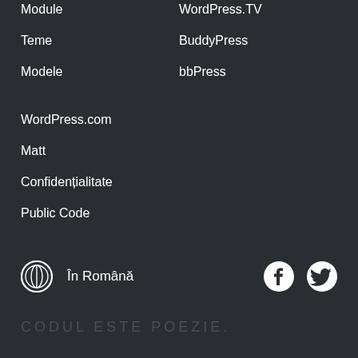Module
WordPress.TV
Teme
BuddyPress
Modele
bbPress
WordPress.com
Matt
Confidențialitate
Public Code
În Română  CODUL ESTE POEZIE.